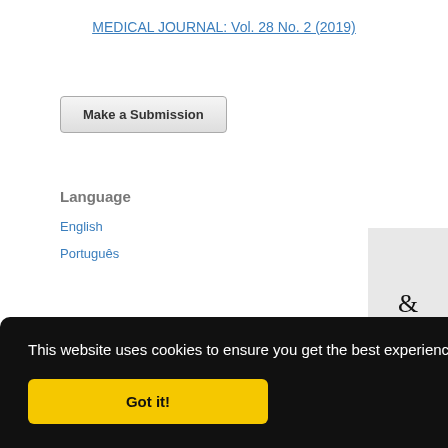MEDICAL JOURNAL: Vol. 28 No. 2 (2019)
Make a Submission
Language
English
Português
This website uses cookies to ensure you get the best experience on our website.
Got it!
& py P